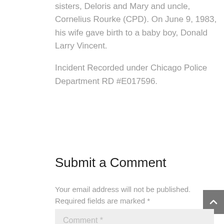sisters, Deloris and Mary and uncle, Cornelius Rourke (CPD). On June 9, 1983, his wife gave birth to a baby boy, Donald Larry Vincent.

Incident Recorded under Chicago Police Department RD #E017596.
Submit a Comment
Your email address will not be published. Required fields are marked *